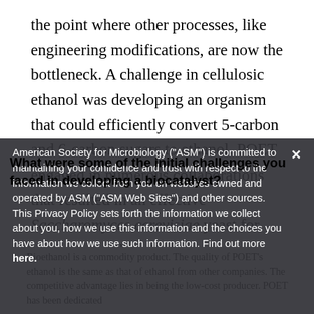the point where other processes, like engineering modifications, are now the bottleneck. A challenge in cellulosic ethanol was developing an organism that could efficiently convert 5-carbon and 6-carbon sugars to ethanol. POET engaged in numerous collaborations that resulted in an effective Saccharomyces cerevisiae yeast for producing cellulosic ethanol.
American Society for Microbiology ("ASM") is committed to maintaining your confidence and trust with respect to the information we collect from you on websites owned and operated by ASM ("ASM Web Sites") and other sources. This Privacy Policy sets forth the information we collect about you, how we use this information and the choices you have about how we use such information. Find out more here.
What were some of the initial challenges you faced in developing a biocatalyst?
Bioethanol is a commodity product. The quality of POET's ethanol is the same as that of ethanol from other companies. The competitive advantage lies in being the low-cost producer. POET has been dedicated